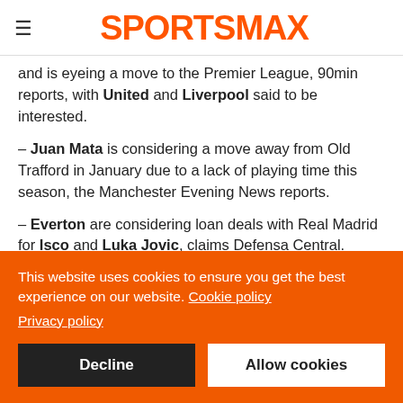SPORTSMAX
and is eyeing a move to the Premier League, 90min reports, with United and Liverpool said to be interested.
– Juan Mata is considering a move away from Old Trafford in January due to a lack of playing time this season, the Manchester Evening News reports.
– Everton are considering loan deals with Real Madrid for Isco and Luka Jovic, claims Defensa Central.
– West Brom teen Reyes Cleary is drawing attention from
This website uses cookies to ensure you get the best experience on our website. Cookie policy
Privacy policy
Decline | Allow cookies